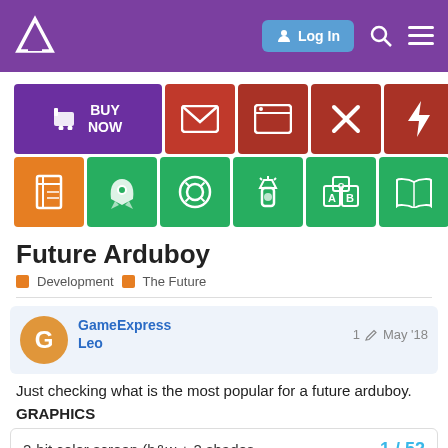Arduboy Community Forum — Log In
[Figure (screenshot): Navigation icon grid with BUY NOW, mail, browser, tools, lightning, chip, notebook, rocket, lifebuoy, flashlight, ABC blocks, book, table icons in purple, red, orange, and green tiles]
Future Arduboy
Development  The Future
GameExpress Leo   1  May '18
Just checking what is the most popular for a future arduboy.
GRAPHICS
2-bit color screen (b&w + 2 shades   1 / 52